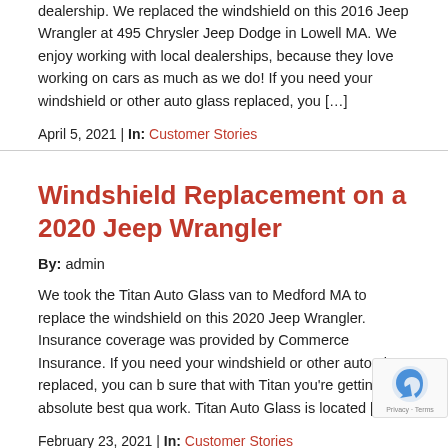dealership. We replaced the windshield on this 2016 Jeep Wrangler at 495 Chrysler Jeep Dodge in Lowell MA. We enjoy working with local dealerships, because they love working on cars as much as we do! If you need your windshield or other auto glass replaced, you […]
April 5, 2021 | In: Customer Stories
Windshield Replacement on a 2020 Jeep Wrangler
By: admin
We took the Titan Auto Glass van to Medford MA to replace the windshield on this 2020 Jeep Wrangler. Insurance coverage was provided by Commerce Insurance. If you need your windshield or other auto glass replaced, you can be sure that with Titan you're getting the absolute best quality work. Titan Auto Glass is located […]
February 23, 2021 | In: Customer Stories